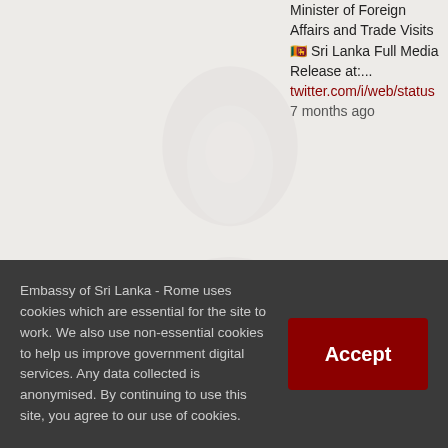Minister of Foreign Affairs and Trade Visits 🇱🇰 Sri Lanka Full Media Release at:... twitter.com/i/web/status 7 months ago
QUICK LINKS
REACH US
› New Passport in Lieu
Via Adige, 2 - 00198
Embassy of Sri Lanka - Rome uses cookies which are essential for the site to work. We also use non-essential cookies to help us improve government digital services. Any data collected is anonymised. By continuing to use this site, you agree to our use of cookies.